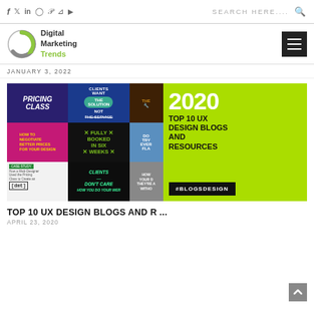f  in  p  RSS  YouTube  |  SEARCH HERE....  🔍
[Figure (logo): Digital Marketing Trends logo with circular arrow icon in gray and green]
JANUARY 3, 2022
[Figure (infographic): Collage of design blog thumbnails on left (pricing class, clients want the solution, freelance design, how to negotiate, fully booked in six weeks, clients don't care) and green panel on right showing '2020 TOP 10 UX DESIGN BLOGS AND RESOURCES #BLOGSDESIGN']
TOP 10 UX DESIGN BLOGS AND R ...
APRIL 23, 2020